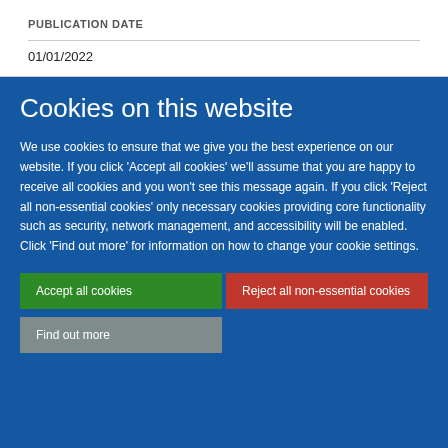PUBLICATION DATE
01/01/2022
Cookies on this website
We use cookies to ensure that we give you the best experience on our website. If you click 'Accept all cookies' we'll assume that you are happy to receive all cookies and you won't see this message again. If you click 'Reject all non-essential cookies' only necessary cookies providing core functionality such as security, network management, and accessibility will be enabled. Click 'Find out more' for information on how to change your cookie settings.
Accept all cookies
Reject all non-essential cookies
Find out more